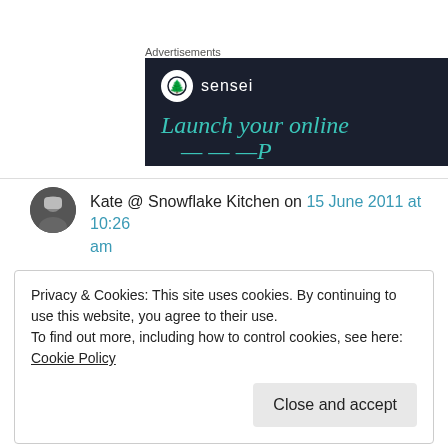Advertisements
[Figure (screenshot): Sensei advertisement banner with dark navy background. Shows Sensei logo (white circle with tree icon) and text 'sensei', followed by teal italic text 'Launch your online' and partially visible text below.]
Kate @ Snowflake Kitchen on 15 June 2011 at 10:26 am
Privacy & Cookies: This site uses cookies. By continuing to use this website, you agree to their use.
To find out more, including how to control cookies, see here: Cookie Policy
Close and accept